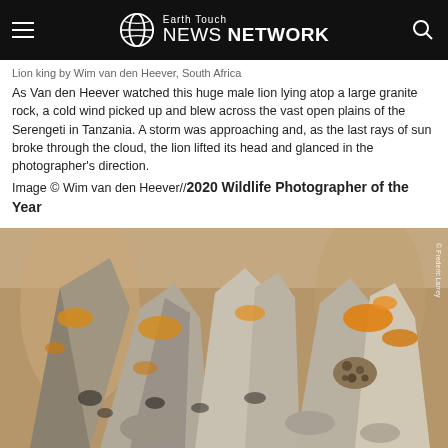Earth Touch NEWS NETWORK
Lion king by Wim van den Heever, South Africa
As Van den Heever watched this huge male lion lying atop a large granite rock, a cold wind picked up and blew across the vast open plains of the Serengeti in Tanzania. A storm was approaching and, as the last rays of sun broke through the cloud, the lion lifted its head and glanced in the photographer's direction.
Image © Wim van den Heever//2020 Wildlife Photographer of the Year
[Figure (photo): Close-up photograph of jagged granite rocks with orange lichen, a small leopard visible camouflaged among the rocks, with a blurred brownish background.]